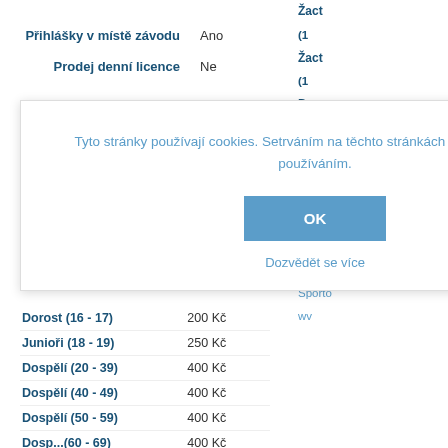Přihlášky v místě závodu   Ano
Prodej denní licence   Ne
| Kategorie |  |
| --- | --- |
| Dorost (16 - 17) | 200 Kč |
| Junioři (18 - 19) | 250 Kč |
| Dospělí (20 - 39) | 400 Kč |
| Dospělí (40 - 49) | 400 Kč |
| Dospělí (50 - 59) | 400 Kč |
Tyto stránky používají cookies. Setrváním na těchto stránkách souhlasíte s jejich používáním.
OK
Dozvědět se více
Žact
(1
Žact
(1
Doros
Junio
Dospě
Dospě
Dospě
Dos
Poz
Sporto
wv